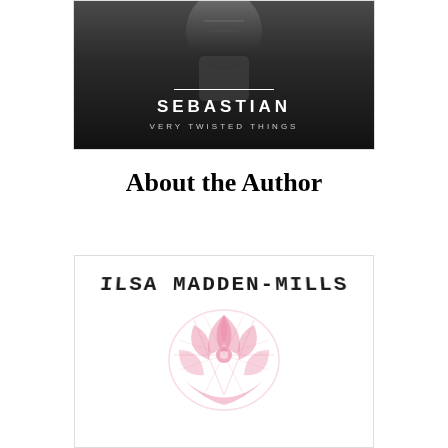[Figure (photo): Book cover for 'Sebastian: Very Twisted Things' showing a dark, moody image with text overlay. White horizontal line above the title 'SEBASTIAN' in large white letters, with subtitle 'VERY TWISTED THINGS' below in smaller white letters.]
About the Author
[Figure (logo): Ilsa Madden-Mills author logo showing her name in arched/curved bold monospace text 'ILSA MADDEN-MILLS' with a decorative pink crown or floral emblem below.]